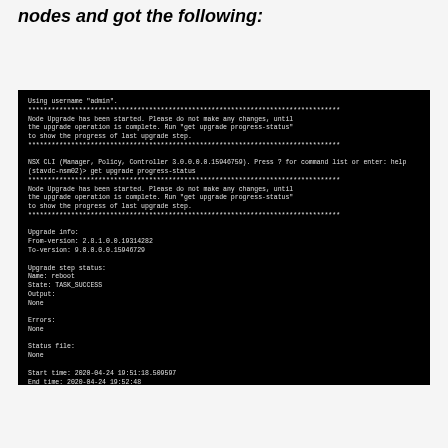nodes and got the following:
[Figure (screenshot): Terminal/CLI screenshot showing a node upgrade process. Displays username 'admin', node upgrade started message, CLI prompt for 'get upgrade progress-status', upgrade info showing from-version 2.8.1.0.0.19314282 to-version 9.0.0.0.0.15946729, upgrade step status with name reboot, state TASK_SUCCESS, output None, errors None, status file None, start time 2020-04-24 19:51:18.509597 and end time 2020-04-24 19:52:48.]